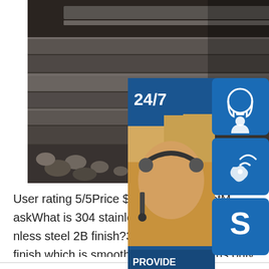[Figure (photo): Industrial steel plates/rails stacked in a warehouse or factory setting, dark metallic tones with gravel/rocks visible]
[Figure (infographic): Right-side banner/widget showing 24/7 customer support with a woman wearing a headset, overlaid with dark blue icon boxes for headset, phone, and Skype icons, plus 'PROVIDE Empowering Customers' text and an orange 'online live' button]
User rating 5/5Price $125.53Brand GetM askWhat is 304 stainless steel 2B finish? nless steel 2B finish?304 stainless steel finish,which is smooth and NOT the brus only seen on kitchen appliances.304 stainless steel 2B fi nish is light gray in color.304 Stainless Steel 2B Finish St ainless Supplysp.infoRelated searches for 2b Finish 304 Stainless Steel Plate fact